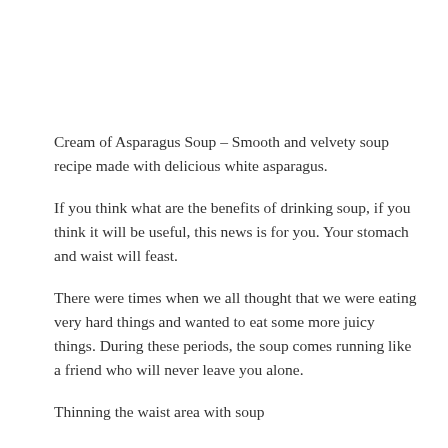Cream of Asparagus Soup – Smooth and velvety soup recipe made with delicious white asparagus.
If you think what are the benefits of drinking soup, if you think it will be useful, this news is for you. Your stomach and waist will feast.
There were times when we all thought that we were eating very hard things and wanted to eat some more juicy things. During these periods, the soup comes running like a friend who will never leave you alone.
Thinning the waist area with soup
According to the research conducted on more than 4 thousand volunteers in the past months, the Body Mass Index of those who have the habit of drinking soup is much less than those who do not.